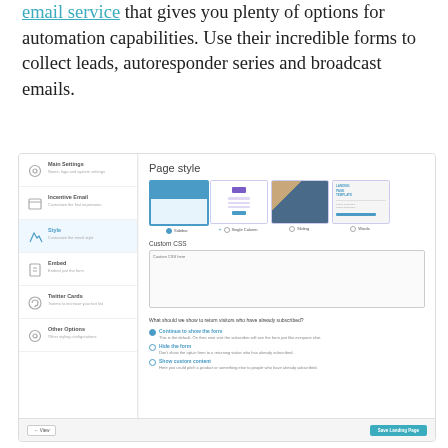email service that gives you plenty of options for automation capabilities. Use their incredible forms to collect leads, autoresponder series and broadcast emails.
[Figure (screenshot): Screenshot of an email marketing platform interface showing left navigation sidebar with items: Main Settings, Incentive Email, Style, Embed, Twitter Cards, Other Options. Main content area shows 'Page style' section with four template thumbnails (Sidebar selected, Single Column, Sliding, Words), a Custom CSS textarea, and options for handling return visitors: Continue to show the form, Hide the form, Show custom content. Bottom bar has View and Save Landing Page buttons.]